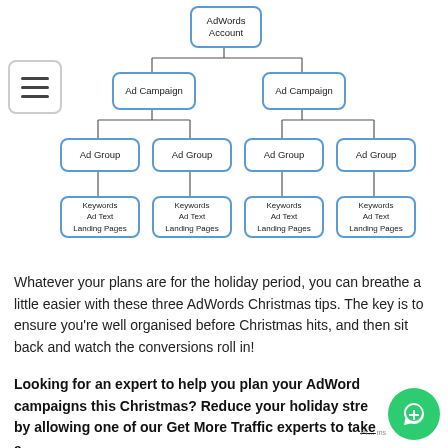[Figure (organizational-chart): AdWords account hierarchy org chart showing: AdWords Account at top, branching to two Ad Campaign boxes, each branching to two Ad Group boxes, each Ad Group branching to a Keywords/Ad Text/Landing Pages box at the bottom.]
Whatever your plans are for the holiday period, you can breathe a little easier with these three AdWords Christmas tips. The key is to ensure you're well organised before Christmas hits, and then sit back and watch the conversions roll in!
Looking for an expert to help you plan your AdWords campaigns this Christmas? Reduce your holiday stress by allowing one of our Get More Traffic experts to take a